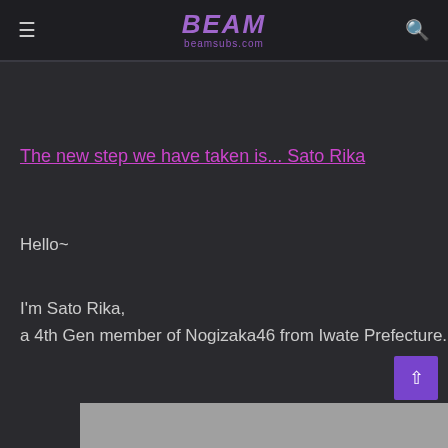BEAM beamsubs.com
The new step we have taken is... Sato Rika
Hello~
I'm Sato Rika,
a 4th Gen member of Nogizaka46 from Iwate Prefecture.
[Figure (photo): Gray image strip at the bottom of the page]